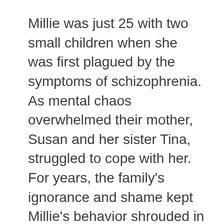Millie was just 25 with two small children when she was first plagued by the symptoms of schizophrenia. As mental chaos overwhelmed their mother, Susan and her sister Tina, struggled to cope with her. For years, the family's ignorance and shame kept Millie's behavior shrouded in secrecy. When her children left home, Millie's life unraveled completely. After 20 years of transience and inadequate care, Millie finally has a chance to reclaim her life.
A story of madness and dignity, shame and love, this intimate film illuminates a national plight through one family's struggle and helps dispel the stigmas and